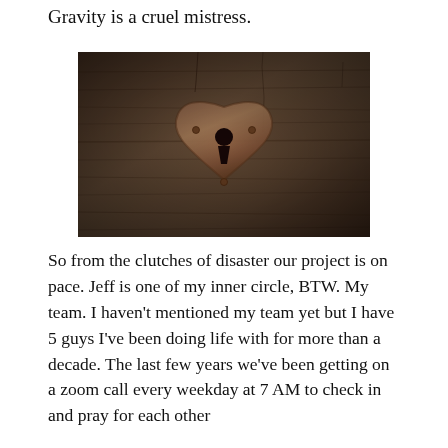Gravity is a cruel mistress.
[Figure (photo): Close-up photo of a heart-shaped metal lock/keyhole plate mounted on a rustic wooden surface with visible wood grain texture. The heart shape is made of aged, textured bronze or iron metal with a keyhole cutout in the center.]
So from the clutches of disaster our project is on pace. Jeff is one of my inner circle, BTW. My team. I haven't mentioned my team yet but I have 5 guys I've been doing life with for more than a decade. The last few years we've been getting on a zoom call every weekday at 7 AM to check in and pray for each other